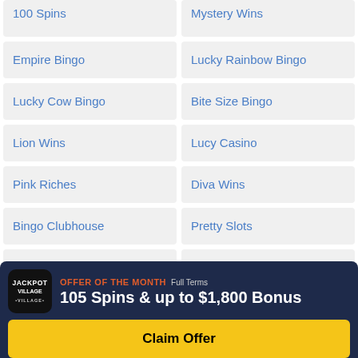100 Spins
Mystery Wins
Empire Bingo
Lucky Rainbow Bingo
Lucky Cow Bingo
Bite Size Bingo
Lion Wins
Lucy Casino
Pink Riches
Diva Wins
Bingo Clubhouse
Pretty Slots
Star Slots
Dove Casino
Lights Camera Bingo
Lady Love Bingo
OFFER OF THE MONTH Full Terms
105 Spins & up to $1,800 Bonus
Claim Offer